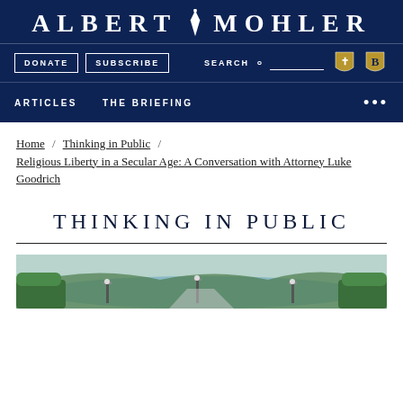ALBERT MOHLER
DONATE   SUBSCRIBE   SEARCH   ARTICLES   THE BRIEFING
Home / Thinking in Public / Religious Liberty in a Secular Age: A Conversation with Attorney Luke Goodrich
THINKING IN PUBLIC
[Figure (illustration): Landscape illustration with hedges, lamp posts, water and hills in the background]